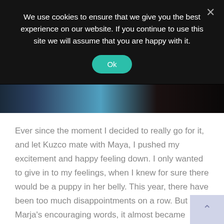We use cookies to ensure that we give you the best experience on our website. If you continue to use this site we will assume that you are happy with it.
[Figure (screenshot): Partial photo strip showing blurred image of hands, blue glove, and dark hair]
Ever since the moment I decided to really go for it, and let Kuzco mate with Maya, I pushed my excitement and happy feeling down. I only wanted to give in to my feelings, when I knew for sure there would be a puppy in her belly. This year, there have been too much disappointments on a row. But after Marja's encouraging words, it almost became impossible to keep my feelings under control. I was so happy I brought my camera with me to hide behind. Because when they put the jelly on Maya's belly, I teared up